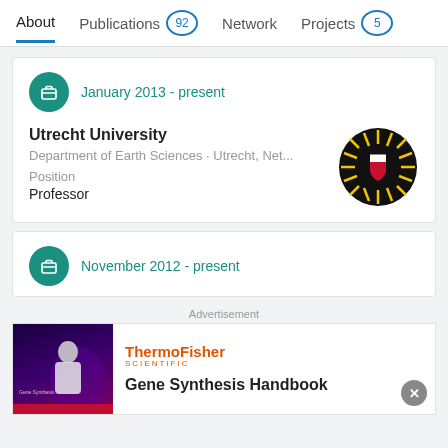About | Publications 92 | Network | Projects 5
January 2013 - present
Utrecht University
Department of Earth Sciences · Utrecht, Net...
Position
Professor
[Figure (logo): Utrecht University logo - circular emblem with sunburst pattern in black and gold with red and white shield in center]
November 2012 - present
Advertisement
[Figure (photo): Advertisement image - dark purple/violet background with a person in lab coat]
ThermoFisher SCIENTIFIC
Gene Synthesis Handbook